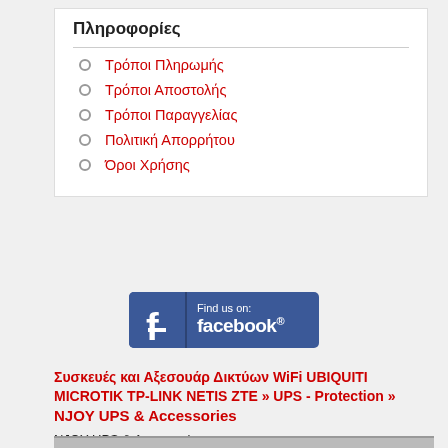Πληροφορίες
Τρόποι Πληρωμής
Τρόποι Αποστολής
Τρόποι Παραγγελίας
Πολιτική Απορρήτου
Όροι Χρήσης
[Figure (logo): Facebook 'Find us on: facebook.' button with blue background and white Facebook 'f' icon]
Συσκευές και Αξεσουάρ Δικτύων WiFi UBIQUITI MICROTIK TP-LINK NETIS ZTE » UPS - Protection » NJOY UPS & Accessories
NJOY UPS & Accessories